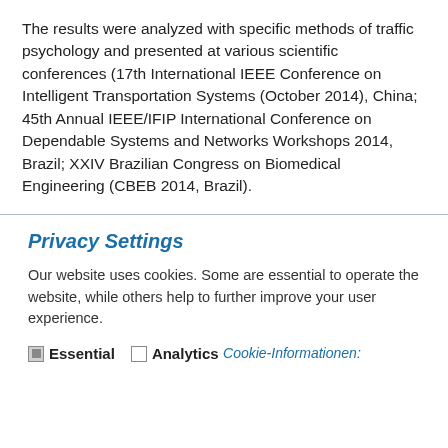The results were analyzed with specific methods of traffic psychology and presented at various scientific conferences (17th International IEEE Conference on Intelligent Transportation Systems (October 2014), China; 45th Annual IEEE/IFIP International Conference on Dependable Systems and Networks Workshops 2014, Brazil; XXIV Brazilian Congress on Biomedical Engineering (CBEB 2014, Brazil).
Privacy Settings
Our website uses cookies. Some are essential to operate the website, while others help to further improve your user experience.
Essential   Analytics
Cookie-Informationen: